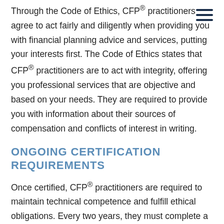Through the Code of Ethics, CFP® practitioners agree to act fairly and diligently when providing you with financial planning advice and services, putting your interests first. The Code of Ethics states that CFP® practitioners are to act with integrity, offering you professional services that are objective and based on your needs. They are required to provide you with information about their sources of compensation and conflicts of interest in writing.
ONGOING CERTIFICATION REQUIREMENTS
Once certified, CFP® practitioners are required to maintain technical competence and fulfill ethical obligations. Every two years, they must complete a minimum 30 hours of continuing education to stay current with developments in the financial planning